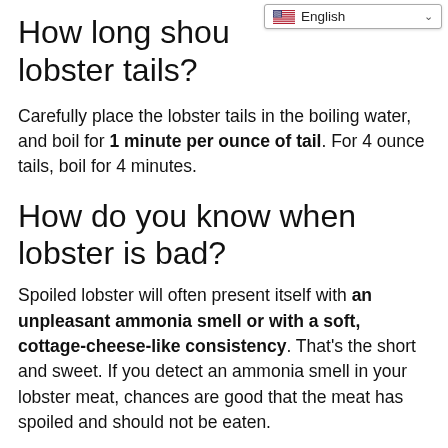How long should lobster tails?
Carefully place the lobster tails in the boiling water, and boil for 1 minute per ounce of tail. For 4 ounce tails, boil for 4 minutes.
How do you know when lobster is bad?
Spoiled lobster will often present itself with an unpleasant ammonia smell or with a soft, cottage-cheese-like consistency. That’s the short and sweet. If you detect an ammonia smell in your lobster meat, chances are good that the meat has spoiled and should not be eaten.